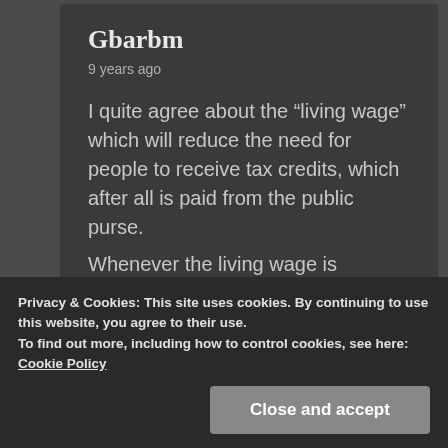Gbarbm
9 years ago
I quite agree about the “living wage” which will reduce the need for people to receive tax credits, which after all is paid from the public purse.
Whenever the living wage is
bear the brunt of.
Privacy & Cookies: This site uses cookies. By continuing to use this website, you agree to their use.
To find out more, including how to control cookies, see here: Cookie Policy
Close and accept